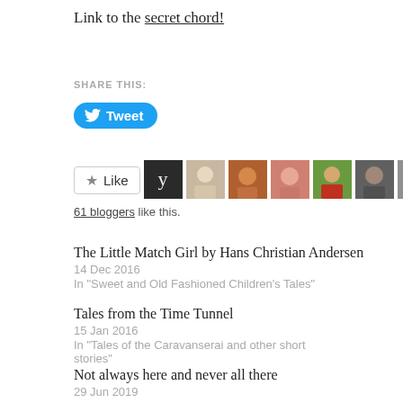Link to the secret chord!
SHARE THIS:
[Figure (other): Twitter Tweet button (blue rounded rectangle with bird icon and 'Tweet' text)]
[Figure (other): Like button with star icon followed by a row of blogger avatar thumbnails]
61 bloggers like this.
The Little Match Girl by Hans Christian Andersen
14 Dec 2016
In "Sweet and Old Fashioned Children's Tales"
Tales from the Time Tunnel
15 Jan 2016
In "Tales of the Caravanserai and other short stories"
Not always here and never all there
29 Jun 2019